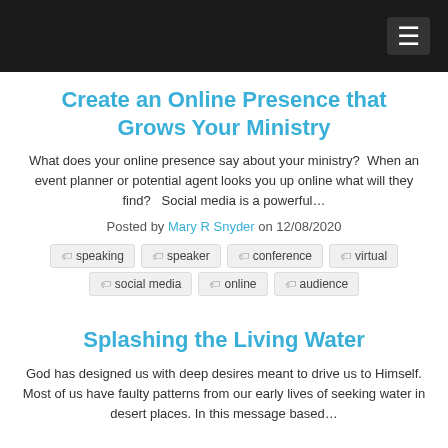Create an Online Presence that Grows Your Ministry
What does your online presence say about your ministry?  When an event planner or potential agent looks you up online what will they find?   Social media is a powerful…
Posted by Mary R Snyder on 12/08/2020
speaking
speaker
conference
virtual
social media
online
audience
Splashing the Living Water
God has designed us with deep desires meant to drive us to Himself. Most of us have faulty patterns from our early lives of seeking water in desert places. In this message based…